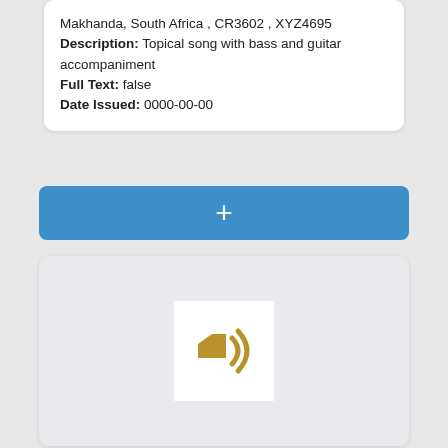Makhanda, South Africa , CR3602 , XYZ4695
Description: Topical song with bass and guitar accompaniment
Full Text: false
Date Issued: 0000-00-00
+
[Figure (illustration): Audio/speaker icon in gold/dark yellow color on a white square background, centered on a light gray card.]